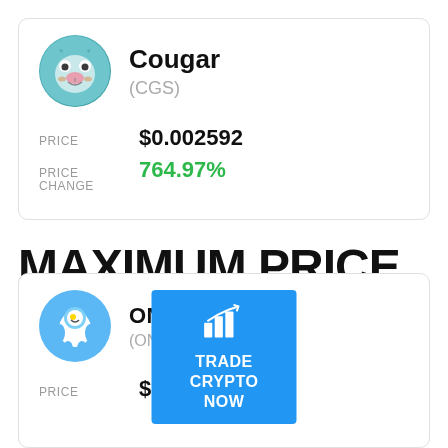|  | COUGAR (CGS) |
| --- | --- |
| PRICE | $0.002592 |
| PRICE CHANGE | 764.97% |
MAXIMUM PRICE DROP PER DAY
[Figure (infographic): Blue banner with trading chart icon and text: TRADE CRYPTO NOW]
|  | ONEMOON (ONEMOON) |
| --- | --- |
| PRICE | $0.000000 |